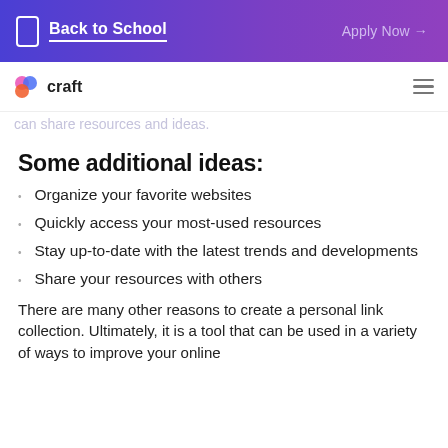Back to School | Apply Now →
craft  ≡
can share resources and ideas.
Some additional ideas:
Organize your favorite websites
Quickly access your most-used resources
Stay up-to-date with the latest trends and developments
Share your resources with others
There are many other reasons to create a personal link collection. Ultimately, it is a tool that can be used in a variety of ways to improve your online